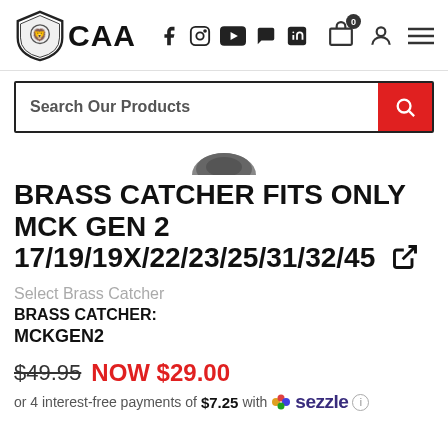CAA — navigation header with logo, social icons, cart, profile, menu
Search Our Products
[Figure (photo): Partial view of a dark metal product (brass catcher) against white background]
BRASS CATCHER FITS ONLY MCK GEN 2 17/19/19X/22/23/25/31/32/45
Select Brass Catcher
BRASS CATCHER: MCKGEN2
$49.95 NOW $29.00
or 4 interest-free payments of $7.25 with Sezzle